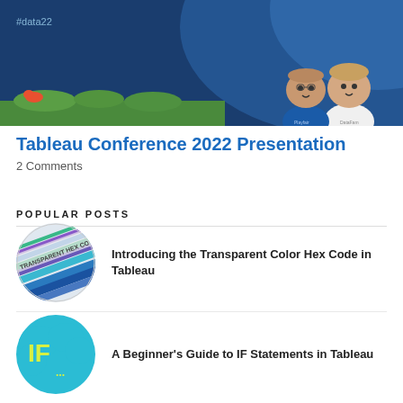[Figure (illustration): Dark blue banner header with #data22 hashtag text in top left and two cartoon character figures (bobblehead-style avatars of two men) on the right side, with a green grass strip at the bottom of the banner.]
Tableau Conference 2022 Presentation
2 Comments
POPULAR POSTS
[Figure (photo): Circular thumbnail image showing colored pencils or markers arranged together with text 'TRANSPARENT HEX CO' visible on them, in blues, greens, and purples.]
Introducing the Transparent Color Hex Code in Tableau
[Figure (illustration): Circular teal/cyan cloud-shaped thumbnail with bold yellow-green 'IF...' text in the center, representing IF statements in Tableau.]
A Beginner's Guide to IF Statements in Tableau